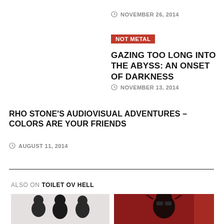NOVEMBER 26, 2014
NOT METAL
GAZING TOO LONG INTO THE ABYSS: AN ONSET OF DARKNESS
NOVEMBER 13, 2014
RHO STONE'S AUDIOVISUAL ADVENTURES – COLORS ARE YOUR FRIENDS
AUGUST 11, 2014
ALSO ON TOILET OV HELL
[Figure (photo): Thumbnail image showing three people/band members against a light background]
[Figure (photo): Thumbnail image showing a figure in red/dark tones, appears to be album or show artwork]